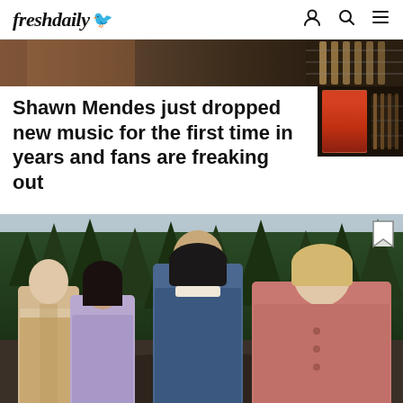freshdaily
[Figure (photo): Top portion of a photo showing what appears to be guitar strings/musical instrument with dark and brown tones]
Shawn Mendes just dropped new music for the first time in years and fans are freaking out
[Figure (photo): Photo of four young people (Riverdale cast) standing outdoors in front of evergreen trees on an overcast day. From left: young man in beige sherpa jacket, young woman with dark hair in lavender coat, tall young man in denim jacket with hood, and young woman in pink/rose coat with blonde hair pulled back.]